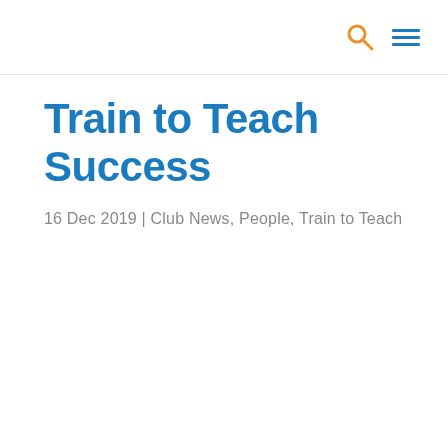Train to Teach Success
16 Dec 2019 | Club News, People, Train to Teach